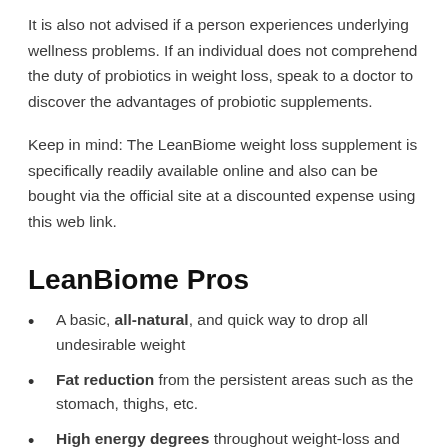It is also not advised if a person experiences underlying wellness problems. If an individual does not comprehend the duty of probiotics in weight loss, speak to a doctor to discover the advantages of probiotic supplements.
Keep in mind: The LeanBiome weight loss supplement is specifically readily available online and also can be bought via the official site at a discounted expense using this web link.
LeanBiome Pros
A basic, all-natural, and quick way to drop all undesirable weight
Fat reduction from the persistent areas such as the stomach, thighs, etc.
High energy degrees throughout weight-loss and no weak point or lethargic feeling
Healthy gut microbiota, with a best balance in